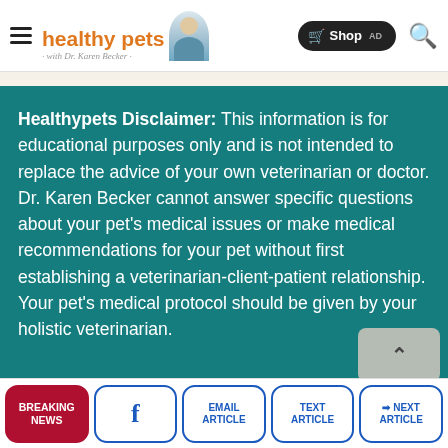healthy pets with Dr. Karen Becker — Shop AD
Healthypets Disclaimer: This information is for educational purposes only and is not intended to replace the advice of your own veterinarian or doctor. Dr. Karen Becker cannot answer specific questions about your pet's medical issues or make medical recommendations for your pet without first establishing a veterinarian-client-patient relationship. Your pet's medical protocol should be given by your holistic veterinarian.
By continuing to browse our site you agree to our use of cookies, revised Privacy Policy and Terms of Service.
BREAKING NEWS | (Facebook) | EMAIL ARTICLE | TEXT ARTICLE | NEXT ARTICLE